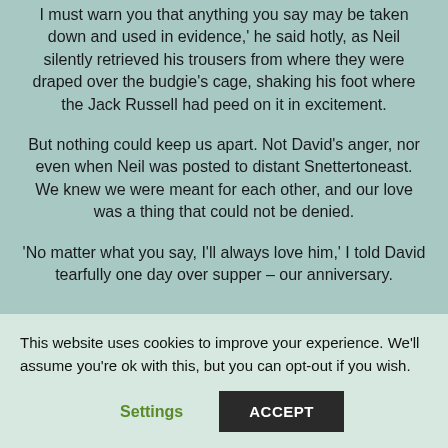I must warn you that anything you say may be taken down and used in evidence,' he said hotly, as Neil silently retrieved his trousers from where they were draped over the budgie's cage, shaking his foot where the Jack Russell had peed on it in excitement.
But nothing could keep us apart. Not David's anger, nor even when Neil was posted to distant Snettertoneast. We knew we were meant for each other, and our love was a thing that could not be denied.
'No matter what you say, I'll always love him,' I told David tearfully one day over supper – our anniversary.
This website uses cookies to improve your experience. We'll assume you're ok with this, but you can opt-out if you wish.